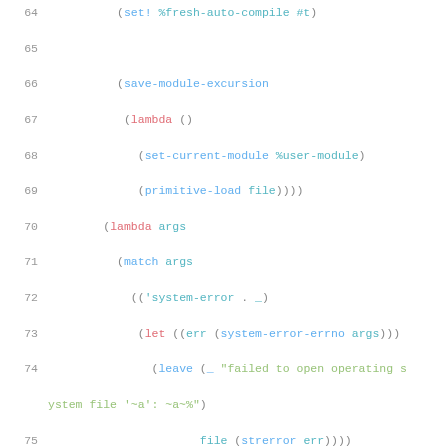[Figure (screenshot): Syntax-highlighted Scheme/Guile source code snippet, lines 64–81, showing module loading with error handling using match, lambda, let, leave, and various system/syntax error handlers.]